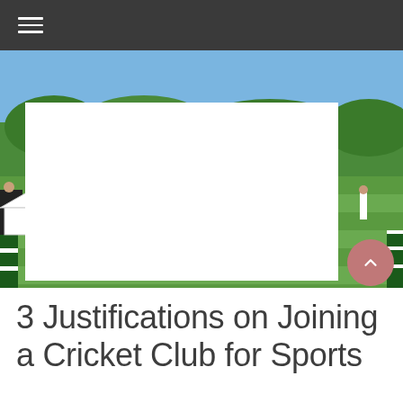[Figure (photo): Outdoor cricket match in progress on a green field with players in white and spectators watching from the boundary on a sunny day. A large white rectangular overlay occupies the center of the image.]
3 Justifications on Joining a Cricket Club for Sports